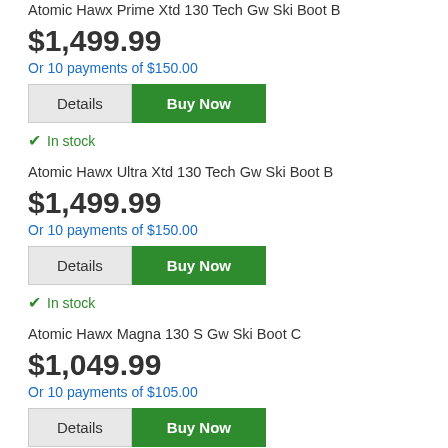Atomic Hawx Prime Xtd 130 Tech Gw Ski Boot B
$1,499.99
Or 10 payments of $150.00
In stock
Atomic Hawx Ultra Xtd 130 Tech Gw Ski Boot B
$1,499.99
Or 10 payments of $150.00
In stock
Atomic Hawx Magna 130 S Gw Ski Boot C
$1,049.99
Or 10 payments of $105.00
In stock
Atomic Hawx Prime 130 S Gw Ski Boot C